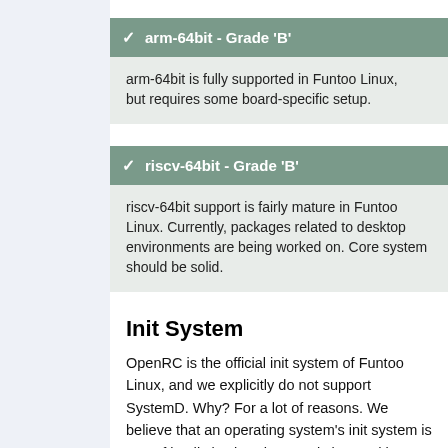arm-64bit - Grade 'B'
arm-64bit is fully supported in Funtoo Linux, but requires some board-specific setup.
riscv-64bit - Grade 'B'
riscv-64bit support is fairly mature in Funtoo Linux. Currently, packages related to desktop environments are being worked on. Core system should be solid.
Init System
OpenRC is the official init system of Funtoo Linux, and we explicitly do not support SystemD. Why? For a lot of reasons. We believe that an operating system's init system is one of its distinctive characteristics, and is something we care about. Gentoo used to be a leader in this area, with the first dependency-based init system being